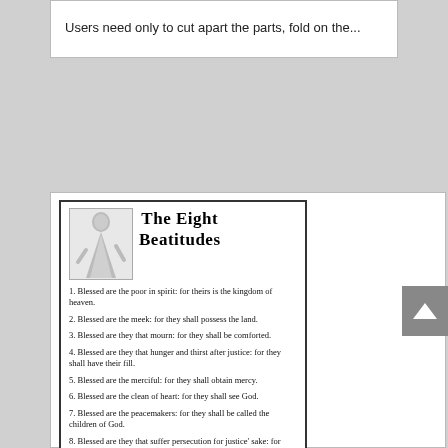Users need only to cut apart the parts, fold on the...
[Figure (illustration): Preview card showing 'The Eight Beatitudes' document with a figure of Jesus and a list of the eight beatitudes numbered 1-8 in a decorative blackletter font.]